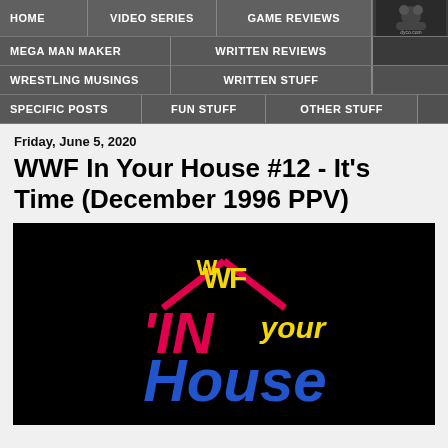HOME | VIDEO SERIES | GAME REVIEWS | MEGA MAN MAKER | WRITTEN REVIEWS | WRESTLING MUSINGS | WRITTEN STUFF | SPECIFIC POSTS | FUN STUFF | OTHER STUFF
Friday, June 5, 2020
WWF In Your House #12 - It's Time (December 1996 PPV)
[Figure (logo): WWF In Your House logo on black background — colorful text with 'IN' in pink, 'Your' in yellow/white, 'House' in blue, with WWF logo above and a house roofline graphic in pink/red.]